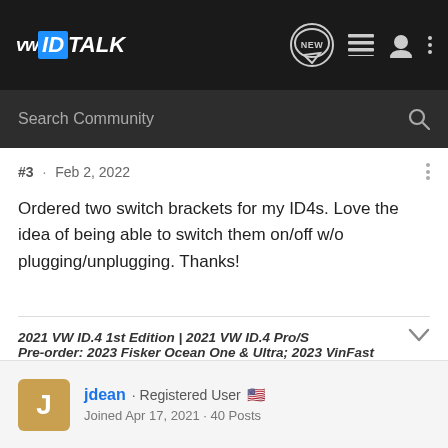VWID TALK
Search Community
#3 · Feb 2, 2022
Ordered two switch brackets for my ID4s. Love the idea of being able to switch them on/off w/o plugging/unplugging. Thanks!
2021 VW ID.4 1st Edition | 2021 VW ID.4 Pro/S
Pre-order: 2023 Fisker Ocean One & Ultra; 2023 VinFast VF8;
mochalatte
jdean · Registered User 🇺🇸
Joined Apr 17, 2021 · 40 Posts